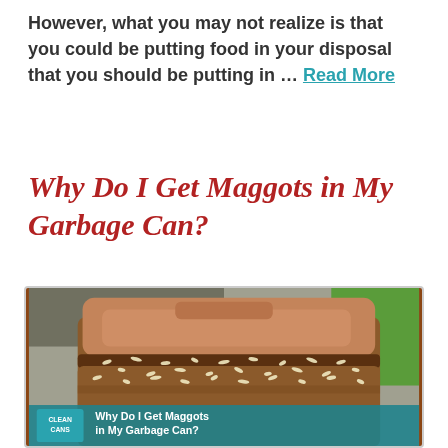However, what you may not realize is that you could be putting food in your disposal that you should be putting in … Read More
Why Do I Get Maggots in My Garbage Can?
[Figure (photo): Close-up photo of a brown plastic garbage can lid covered with maggots, with green grass visible in the background. A teal banner at the bottom shows the 'Clean Cans' logo and the caption 'Why Do I Get Maggots in My Garbage Can?']